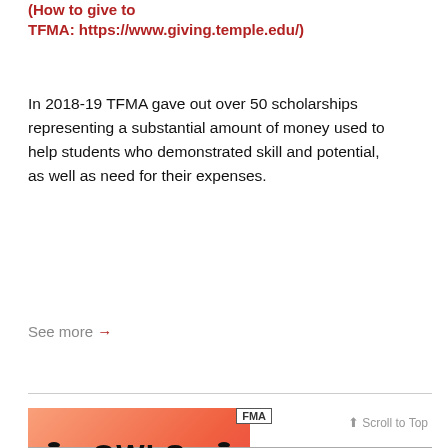(How to give to TFMA: https://www.giving.temple.edu/)
In 2018-19 TFMA gave out over 50 scholarships representing a substantial amount of money used to help students who demonstrated skill and potential, as well as need for their expenses.
See more →
[Figure (illustration): Orange/salmon colored promotional image with FMA badge in top right corner. Shows laurel wreaths on each side with bold text reading OWLS AT SUNDANCE in the center.]